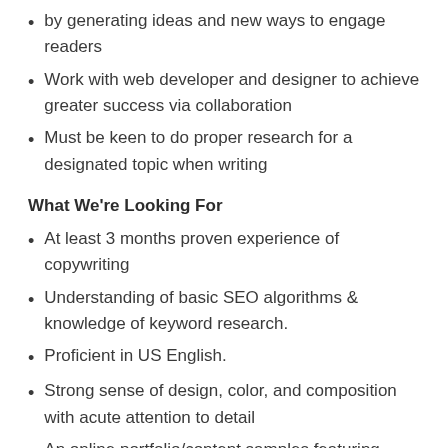by generating ideas and new ways to engage readers
Work with web developer and designer to achieve greater success via collaboration
Must be keen to do proper research for a designated topic when writing
What We're Looking For
At least 3 months proven experience of copywriting
Understanding of basic SEO algorithms & knowledge of keyword research.
Proficient in US English.
Strong sense of design, color, and composition with acute attention to detail
An online portfolio/content samples featuring production work of business & technology content writing